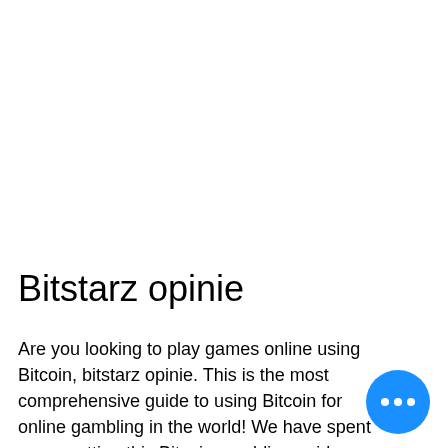Bitstarz opinie
Are you looking to play games online using Bitcoin, bitstarz opinie. This is the most comprehensive guide to using Bitcoin for online gambling in the world! We have spent years putting this Bitcoin gambling guide together and we are constantly updating and editing it to make sure you have the most up to date information at your fingertips. Bitcoin